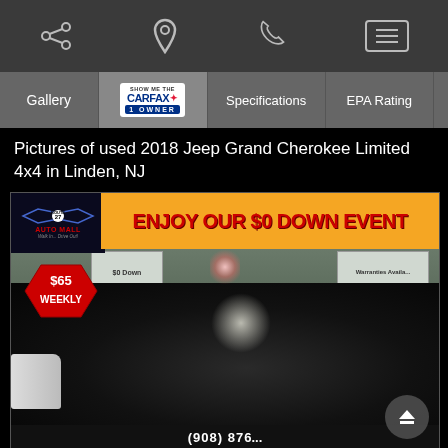[Figure (screenshot): Mobile website top navigation bar with share icon, location pin icon, phone icon, and hamburger menu button on dark grey background]
[Figure (screenshot): Navigation tabs: Gallery, CARFAX 1 Owner badge, Specifications, EPA Rating]
Pictures of used 2018 Jeep Grand Cherokee Limited 4x4 in Linden, NJ
[Figure (photo): 2018 Jeep Grand Cherokee Limited 4x4 in black at Route 27 Auto Mall dealership. Banner reads ENJOY OUR $0 DOWN EVENT in red on orange background. Price sticker shows $65 WEEKLY in red hexagon badge.]